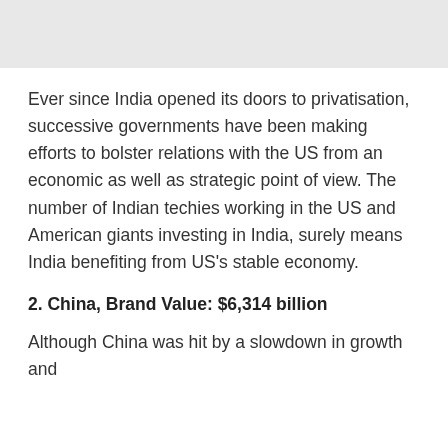Ever since India opened its doors to privatisation, successive governments have been making efforts to bolster relations with the US from an economic as well as strategic point of view. The number of Indian techies working in the US and American giants investing in India, surely means India benefiting from US's stable economy.
2. China, Brand Value: $6,314 billion
Although China was hit by a slowdown in growth and